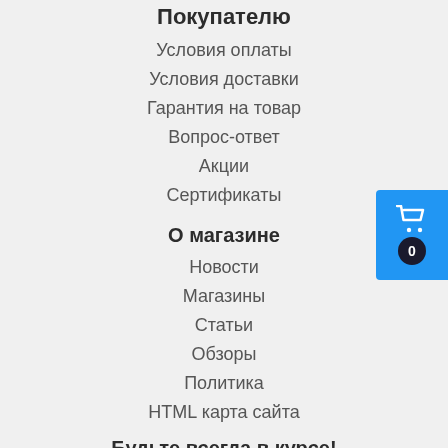Покупателю
Условия оплаты
Условия доставки
Гарантия на товар
Вопрос-ответ
Акции
Сертификаты
О магазине
Новости
Магазины
Статьи
Обзоры
Политика
HTML карта сайта
Будьте всегда в курсе!